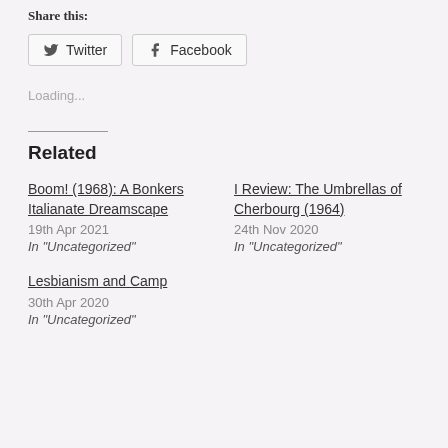Share this:
Twitter  Facebook
Loading...
Related
Boom! (1968): A Bonkers Italianate Dreamscape
19th Apr 2021
In "Uncategorized"
I Review: The Umbrellas of Cherbourg (1964)
24th Nov 2020
In "Uncategorized"
Lesbianism and Camp
30th Apr 2020
In "Uncategorized"